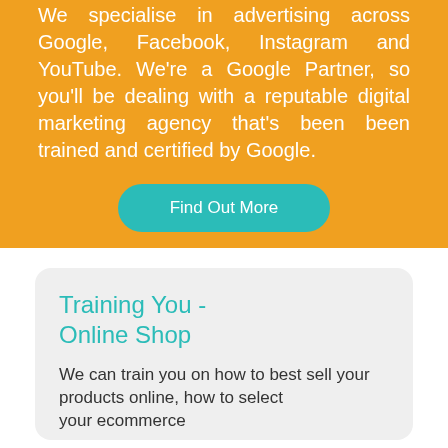We specialise in advertising across Google, Facebook, Instagram and YouTube. We're a Google Partner, so you'll be dealing with a reputable digital marketing agency that's been been trained and certified by Google.
Find Out More
Training You - Online Shop
We can train you on how to best sell your products online, how to select your ecommerce